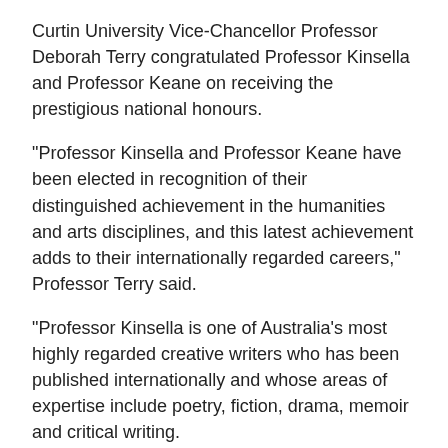Curtin University Vice-Chancellor Professor Deborah Terry congratulated Professor Kinsella and Professor Keane on receiving the prestigious national honours.
“Professor Kinsella and Professor Keane have been elected in recognition of their distinguished achievement in the humanities and arts disciplines, and this latest achievement adds to their internationally regarded careers,” Professor Terry said.
“Professor Kinsella is one of Australia’s most highly regarded creative writers who has been published internationally and whose areas of expertise include poetry, fiction, drama, memoir and critical writing.
“As a researcher, Professor Keane has broken new ground in the area of television formats in China, cultural industries, urban creative clusters, and online media and digital innovation in East Asia.”
As an Honorary Fellow, Professor Kinsella was elected in